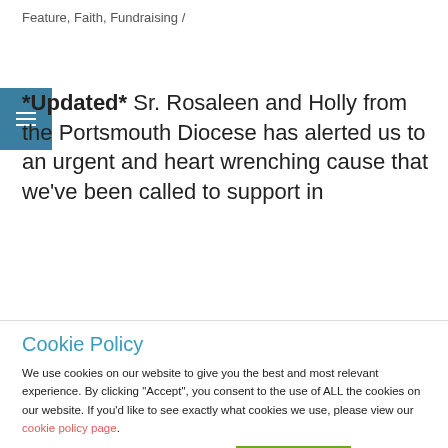Feature, Faith, Fundraising /
*Updated* Sr. Rosaleen and Holly from the Portsmouth Diocese has alerted us to an urgent and heart wrenching cause that we've been called to support in
[faded/obscured text line]
Cookie Policy
We use cookies on our website to give you the best and most relevant experience. By clicking “Accept”, you consent to the use of ALL the cookies on our website. If you'd like to see exactly what cookies we use, please view our cookie policy page.
Cookie settings | ACCEPT